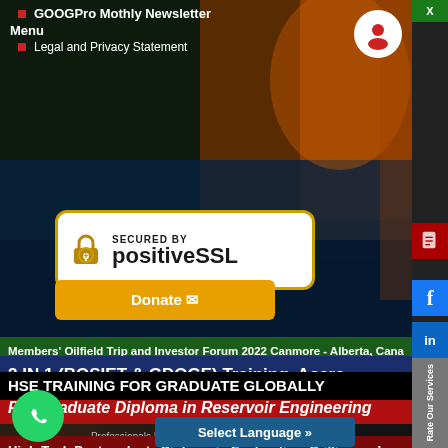GOOGPro Mothly Newsletter
Menu
Legal and Privacy Statement
[Figure (logo): SECURED BY positiveSSL badge with padlock icon, white background with gold border]
Members' Oilfield Trip and Investor Forum 2022 Canmore - Alberta, Cana
2 IN 1 (BOSIET & GDOGE) Training, Accra - Ghana
Postgraduate Diploma in Reservoir Engineering
Professionals Inc. - GOOGPro. All Rights Reserved.
High-Tech Postgraduate Diploma in Exploration, Drilling and Well Mainte
Opportunity for all member
HSE TRAINING FOR GRADUATE GLOBALLY
Select Language »
[Figure (logo): WhatsApp green circle icon with phone logo]
[Figure (screenshot): Sidebar with X close button, Facebook f icon, LinkedIn in icon, document icon, Rate Our Services vertical text]
[Figure (illustration): Background photo of offshore oil rig platform with orange structures over ocean water]